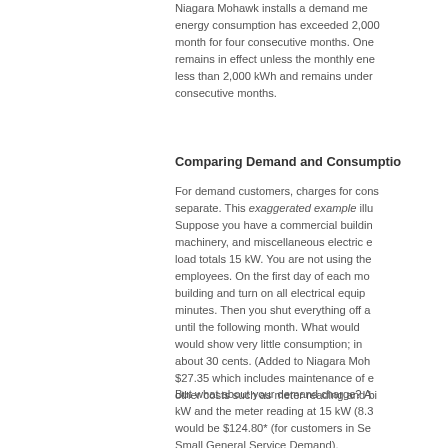Niagara Mohawk installs a demand meter when energy consumption has exceeded 2,000 kWh per month for four consecutive months. Once installed, it remains in effect unless the monthly energy falls less than 2,000 kWh and remains under that for consecutive months.
Comparing Demand and Consumption
For demand customers, charges for consumption are separate. This exaggerated example illustrates. Suppose you have a commercial building with lighting, machinery, and miscellaneous electric equipment whose load totals 15 kW. You are not using the building or employees. On the first day of each month you enter the building and turn on all electrical equipment for 30 minutes. Then you shut everything off and don't return until the following month. What would your bill show? It would show very little consumption; in fact, it would be about 30 cents. (Added to Niagara Mohawk's monthly $27.35 which includes maintenance of equipment, and other costs such as meter reading and billing.)
But what about your demand charge? As I said, 15 kW and the meter reading at 15 kW (8.3...) the charge would be $124.80* (for customers in Service Class Small General Service Demand).